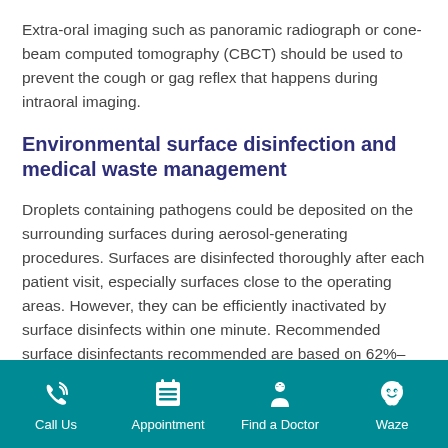Extra-oral imaging such as panoramic radiograph or cone-beam computed tomography (CBCT) should be used to prevent the cough or gag reflex that happens during intraoral imaging.
Environmental surface disinfection and medical waste management
Droplets containing pathogens could be deposited on the surrounding surfaces during aerosol-generating procedures. Surfaces are disinfected thoroughly after each patient visit, especially surfaces close to the operating areas. However, they can be efficiently inactivated by surface disinfects within one minute. Recommended surface disinfectants recommended are based on 62%–71% ethanol, 0.5% hydrogen peroxide, and 0.1% (1 g/L) sodium hypochlorite (Kampf et al., 2020). Special care is also given to the management of laundry and medical waste
Call Us | Appointment | Find a Doctor | Waze